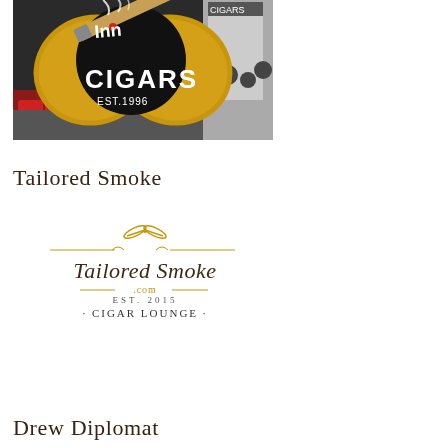[Figure (photo): Cigars store front photo with a large decorative logo showing a cigar, tobacco leaves, and the text 'CIGARS EST.1996' on a black and gold background, with red lounge chairs visible outside]
Tailored Smoke
[Figure (logo): Tailored Smoke .com EST. 2015 CIGAR LOUNGE logo with gold scissors at top, decorative horizontal lines, and elegant serif lettering]
Drew Diplomat